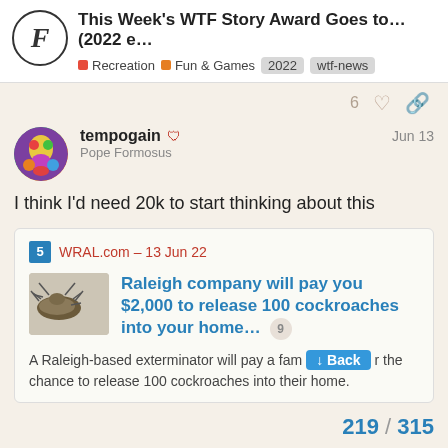This Week's WTF Story Award Goes to… (2022 e… — Recreation, Fun & Games, 2022, wtf-news
6
tempogain — Pope Formosus — Jun 13
I think I'd need 20k to start thinking about this
WRAL.com – 13 Jun 22
Raleigh company will pay you $2,000 to release 100 cockroaches into your home... 9
A Raleigh-based exterminator will pay a fam… r the chance to release 100 cockroaches into their home.
219 / 315